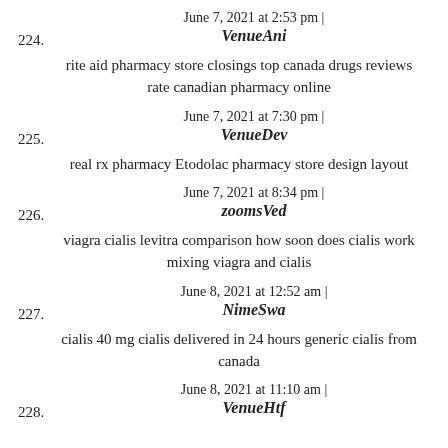224. June 7, 2021 at 2:53 pm | VenueAni
rite aid pharmacy store closings top canada drugs reviews rate canadian pharmacy online
225. June 7, 2021 at 7:30 pm | VenueDev
real rx pharmacy Etodolac pharmacy store design layout
226. June 7, 2021 at 8:34 pm | zoomsVed
viagra cialis levitra comparison how soon does cialis work mixing viagra and cialis
227. June 8, 2021 at 12:52 am | NimeSwa
cialis 40 mg cialis delivered in 24 hours generic cialis from canada
228. June 8, 2021 at 11:10 am | VenueHtf